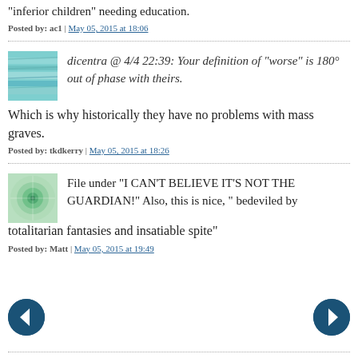"inferior children" needing education.
Posted by: ac1 | May 05, 2015 at 18:06
dicentra @ 4/4 22:39: Your definition of "worse" is 180° out of phase with theirs.
Which is why historically they have no problems with mass graves.
Posted by: tkdkerry | May 05, 2015 at 18:26
File under "I CAN'T BELIEVE IT'S NOT THE GUARDIAN!" Also, this is nice, " bedeviled by totalitarian fantasies and insatiable spite"
Posted by: Matt | May 05, 2015 at 19:49